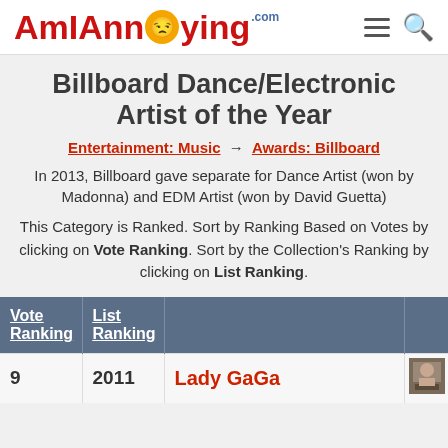AmIAnnoying.com
Billboard Dance/Electronic Artist of the Year
Entertainment: Music → Awards: Billboard
In 2013, Billboard gave separate for Dance Artist (won by Madonna) and EDM Artist (won by David Guetta)
This Category is Ranked. Sort by Ranking Based on Votes by clicking on Vote Ranking. Sort by the Collection's Ranking by clicking on List Ranking.
| Vote Ranking | List Ranking |  |  |
| --- | --- | --- | --- |
| 9 | 2011 | Lady GaGa |  |